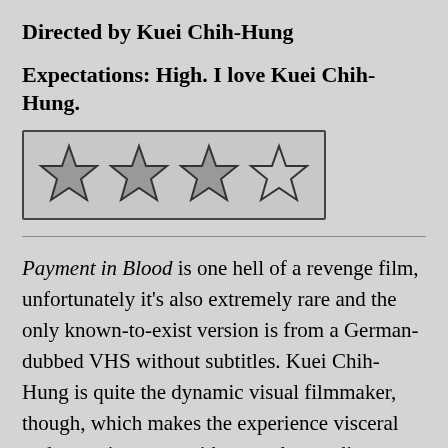Directed by Kuei Chih-Hung
Expectations: High. I love Kuei Chih-Hung.
[Figure (other): A star rating widget showing 3.5 out of 4 stars (three filled/shaded stars and one half-filled star) inside a bordered box.]
Payment in Blood is one hell of a revenge film, unfortunately it's also extremely rare and the only known-to-exist version is from a German-dubbed VHS without subtitles. Kuei Chih-Hung is quite the dynamic visual filmmaker, though, which makes the experience visceral and engaging even without understanding a single word of dialogue. It helps to have a general idea of